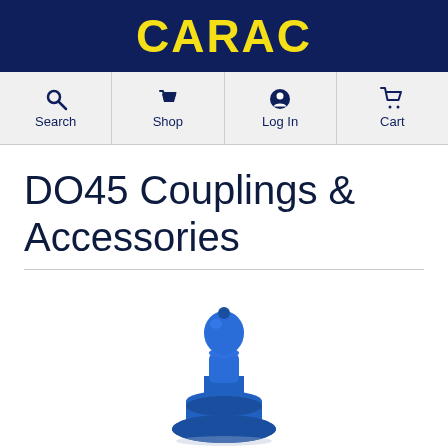CARAC
[Figure (screenshot): Navigation bar with Search, Shop, Log In, and Cart icons]
DO45 Couplings & Accessories
[Figure (photo): Blue DO45 coupling accessory - a blue plastic snap/push connector piece shaped like a small figurine with a round head and wider base]